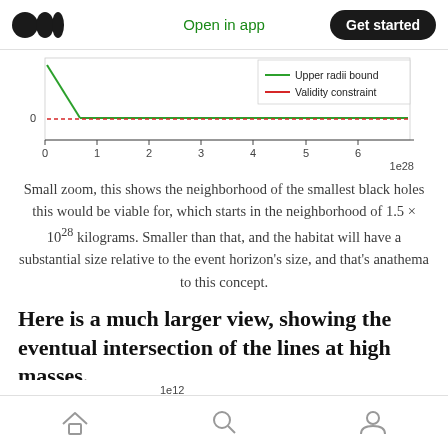Open in app  Get started
[Figure (line-chart): Partial line chart showing Upper radii bound (green line) and Validity constraint (red/orange line) near zero. X-axis from 0 to ~6.5, x-axis scale 1e28. Y-axis shows 0.]
Small zoom, this shows the neighborhood of the smallest black holes this would be viable for, which starts in the neighborhood of 1.5 × 10^28 kilograms. Smaller than that, and the habitat will have a substantial size relative to the event horizon's size, and that's anathema to this concept.
Here is a much larger view, showing the eventual intersection of the lines at high masses.
[Figure (line-chart): Partial line chart (larger view) showing lines at high masses. Y-axis label 1.4, scale 1e12. Two lines visible at bottom right of the chart area (green and blue), heading toward intersection.]
Home  Search  Profile